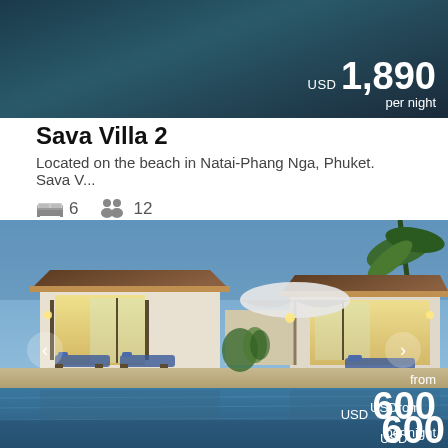[Figure (photo): Aerial or overhead dark water/pool photo with price overlay showing USD 1,890 per night]
USD 1,890 per night
Sava Villa 2
Located on the beach in Natai-Phang Nga, Phuket. Sava V...
6 bedrooms  12 guests
[Figure (photo): Luxury villa exterior at dusk showing pool, lounge chairs, umbrella, and illuminated interior rooms with navigation arrows and price overlay: from USD 600 per night]